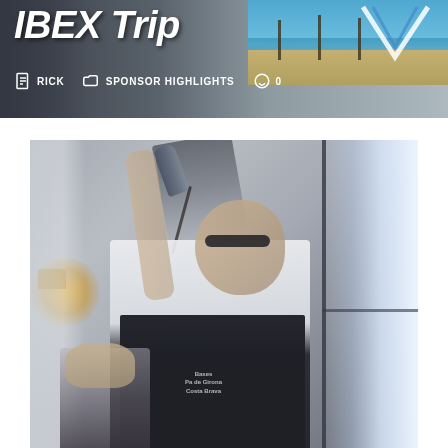IBEX Trip
RICK   SPONSOR HIGHLIGHTS   0
[Figure (photo): A man wearing a white t-shirt and dark apron (with text 'Bases Pa de Girona Costa Brava') is tilting his head back and drinking from a bottle held high above his head. A woman with blonde hair is partially visible in the lower left. The setting appears to be a hotel or restaurant room with a bright window on the right side and a warm lamp glow on the left.]